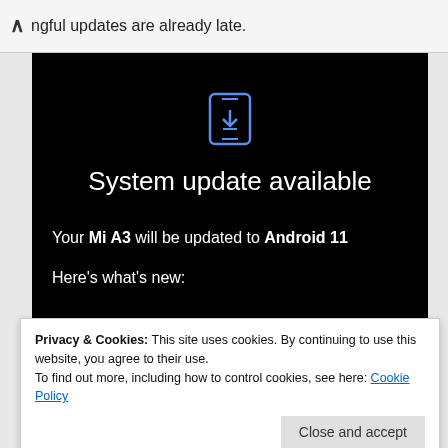ngful updates are already late.
[Figure (screenshot): Screenshot of Android system update screen on a Xiaomi Mi A3 showing 'System update available' with phone icon and text 'Your Mi A3 will be updated to Android 11. Here's what's new:']
Privacy & Cookies: This site uses cookies. By continuing to use this website, you agree to their use.
To find out more, including how to control cookies, see here: Cookie Policy
Close and accept
Additional charges may be incurred